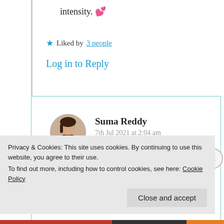intensity. 💕
★ Liked by 3 people
Log in to Reply
Suma Reddy
7th Jul 2021 at 2:04 am
Your views are always beautiful my
Privacy & Cookies: This site uses cookies. By continuing to use this website, you agree to their use.
To find out more, including how to control cookies, see here: Cookie Policy
Close and accept